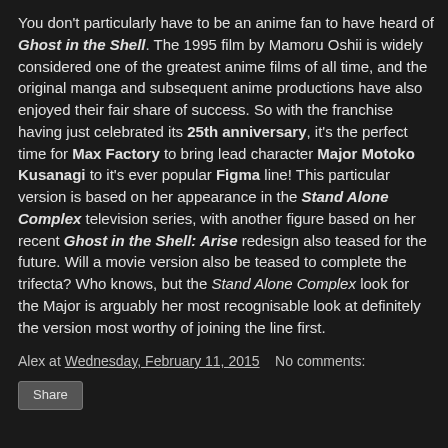You don't particularly have to be an anime fan to have heard of Ghost in the Shell. The 1995 film by Mamoru Oshii is widely considered one of the greatest anime films of all time, and the original manga and subsequent anime productions have also enjoyed their fair share of success. So with the franchise having just celebrated its 25th anniversary, it's the perfect time for Max Factory to bring lead character Major Motoko Kusanagi to it's ever popular Figma line! This particular version is based on her appearance in the Stand Alone Complex television series, with another figure based on her recent Ghost in the Shell: Arise redesign also teased for the future. Will a movie version also be teased to complete the trifecta? Who knows, but the Stand Alone Complex look for the Major is arguably her most recognisable look at definitely the version most worthy of joining the line first.
Alex at Wednesday, February 11, 2015   No comments: